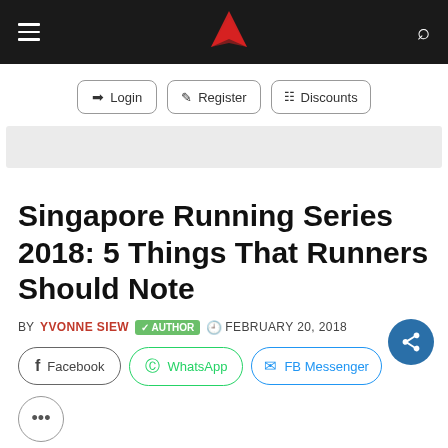Navigation bar with hamburger menu, logo, and search icon
[Figure (logo): Red arrow/chevron shaped logo on dark background]
Login  Register  Discounts
[Figure (other): Gray advertisement banner]
Singapore Running Series 2018: 5 Things That Runners Should Note
BY YVONNE SIEW  AUTHOR  FEBRUARY 20, 2018
Facebook  WhatsApp  FB Messenger